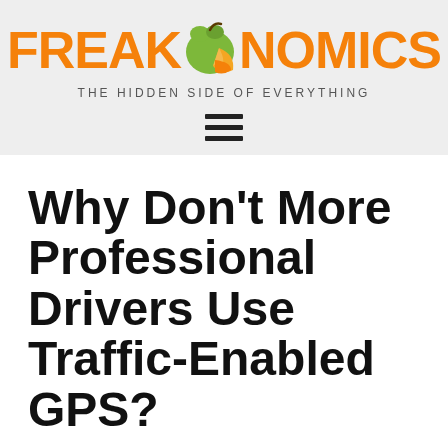[Figure (logo): Freakonomics logo with orange apple/fruit graphic and tagline 'THE HIDDEN SIDE OF EVERYTHING' on a light gray header background, with a hamburger menu icon below]
Why Don't More Professional Drivers Use Traffic-Enabled GPS?